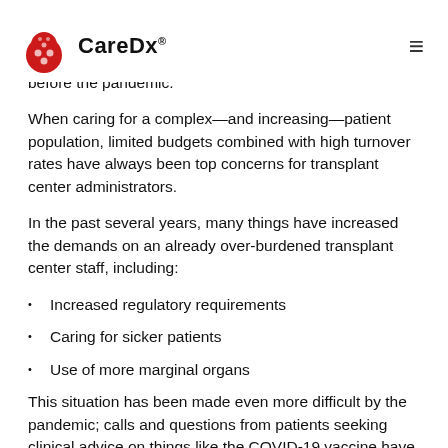CareDx [logo]
before the pandemic.
When caring for a complex—and increasing—patient population, limited budgets combined with high turnover rates have always been top concerns for transplant center administrators.
In the past several years, many things have increased the demands on an already over-burdened transplant center staff, including:
Increased regulatory requirements
Caring for sicker patients
Use of more marginal organs
This situation has been made even more difficult by the pandemic; calls and questions from patients seeking clinical advice on things like the COVID-19 vaccine have